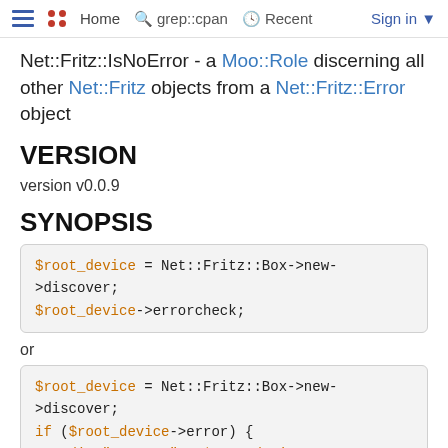≡ •• Home 🔍 grep::cpan 🕑 Recent Sign in ▾
Net::Fritz::IsNoError - a Moo::Role discerning all other Net::Fritz objects from a Net::Fritz::Error object
VERSION
version v0.0.9
SYNOPSIS
$root_device = Net::Fritz::Box->new->discover;
$root_device->errorcheck;
or
$root_device = Net::Fritz::Box->new->discover;
if ($root_device->error) {
    die "error: " . $root_device->error;
}